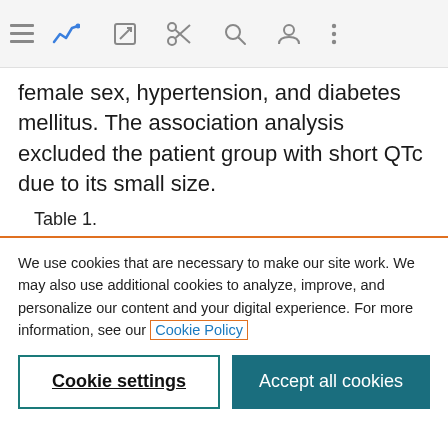[Browser toolbar with navigation icons]
female sex, hypertension, and diabetes mellitus. The association analysis excluded the patient group with short QTc due to its small size.
Table 1.
We use cookies that are necessary to make our site work. We may also use additional cookies to analyze, improve, and personalize our content and your digital experience. For more information, see our Cookie Policy
Cookie settings | Accept all cookies